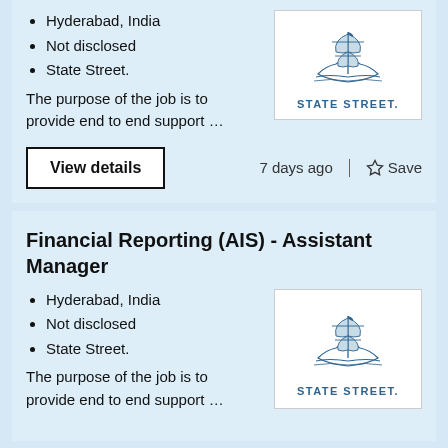Hyderabad, India
Not disclosed
State Street.
[Figure (logo): State Street logo with ship illustration and text STATE STREET]
The purpose of the job is to provide end to end support ...
View details
7 days ago
Save
Financial Reporting (AIS) - Assistant Manager
Hyderabad, India
Not disclosed
State Street.
[Figure (logo): State Street logo with ship illustration and text STATE STREET]
The purpose of the job is to provide end to end support ...